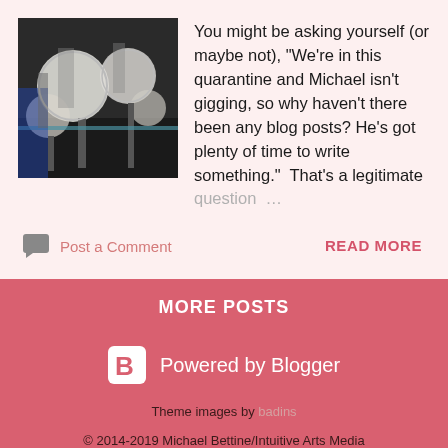[Figure (photo): Photo of a musician with drum cymbals and percussion equipment on a table]
You might be asking yourself (or maybe not), “We’re in this quarantine and Michael isn’t gigging, so why haven’t there been any blog posts? He’s got plenty of time to write something.”  That’s a legitimate question…
Post a Comment
READ MORE
MORE POSTS
Powered by Blogger
Theme images by badins
© 2014-2019 Michael Bettine/Intuitive Arts Media